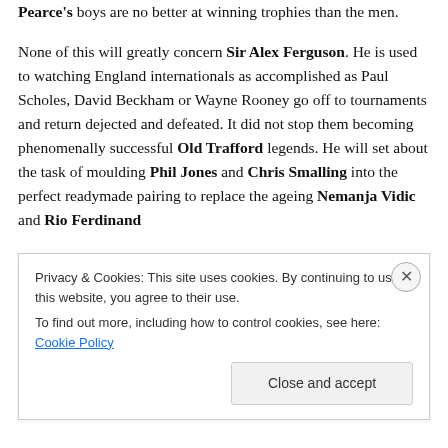Pearce's boys are no better at winning trophies than the men.

None of this will greatly concern Sir Alex Ferguson. He is used to watching England internationals as accomplished as Paul Scholes, David Beckham or Wayne Rooney go off to tournaments and return dejected and defeated. It did not stop them becoming phenomenally successful Old Trafford legends. He will set about the task of moulding Phil Jones and Chris Smalling into the perfect readymade pairing to replace the ageing Nemanja Vidic and Rio Ferdinand
Privacy & Cookies: This site uses cookies. By continuing to use this website, you agree to their use.
To find out more, including how to control cookies, see here: Cookie Policy